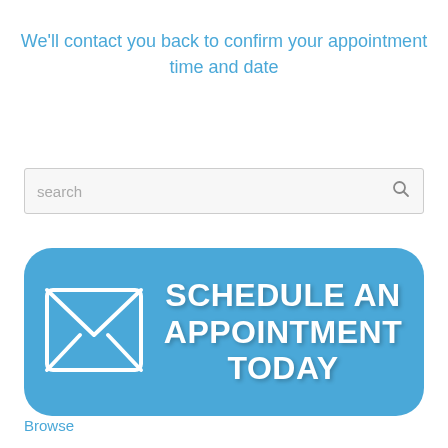We'll contact you back to confirm your appointment time and date
[Figure (screenshot): Search box with placeholder text 'search' and a magnifying glass icon on the right]
[Figure (infographic): Blue rounded rectangle button with envelope icon on the left and bold white text reading 'SCHEDULE AN APPOINTMENT TODAY']
Browse